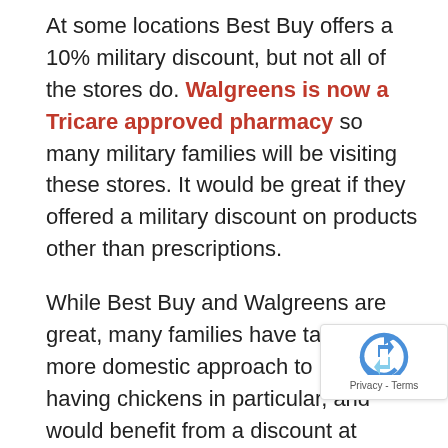At some locations Best Buy offers a 10% military discount, but not all of the stores do. Walgreens is now a Tricare approved pharmacy so many military families will be visiting these stores. It would be great if they offered a military discount on products other than prescriptions.
While Best Buy and Walgreens are great, many families have taken to a more domestic approach to life, having chickens in particular, and would benefit from a discount at Tractor Supply. Tractor Supply offers a discount to farmers, but not to military families. They receive a lot of patronage from the military, so it would be nice to get something back.
It would also be fantastic if every restaurant offered a military discount. A lot of military spouses said they